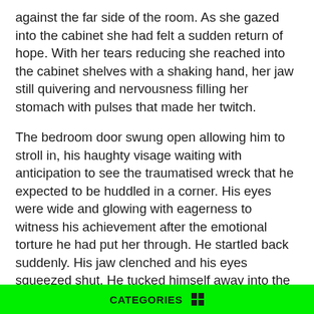against the far side of the room. As she gazed into the cabinet she had felt a sudden return of hope. With her tears reducing she reached into the cabinet shelves with a shaking hand, her jaw still quivering and nervousness filling her stomach with pulses that made her twitch.
The bedroom door swung open allowing him to stroll in, his haughty visage waiting with anticipation to see the traumatised wreck that he expected to be huddled in a corner. His eyes were wide and glowing with eagerness to witness his achievement after the emotional torture he had put her through. He startled back suddenly. His jaw clenched and his eyes squeezed shut. He tucked himself away into the corner of the room. For once in their lives together the roles had changed. It was his time to be punished for his sins. He feared for his life as the rifle was aimed directly at him. Evelyn held the wooden butt firmly against her shoulder, pressing it in, looking down the barrel with a concentrating eye. Her finger caressed the stiff metal trigger, itching her to pull it.
CATEGORIES